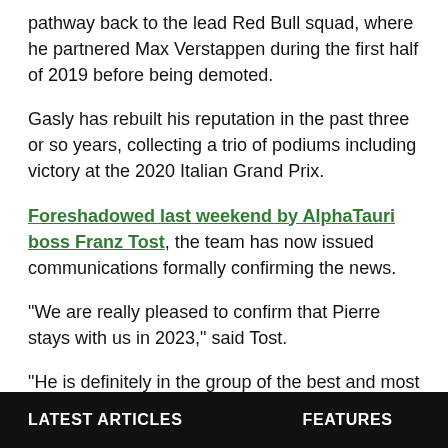pathway back to the lead Red Bull squad, where he partnered Max Verstappen during the first half of 2019 before being demoted.
Gasly has rebuilt his reputation in the past three or so years, collecting a trio of podiums including victory at the 2020 Italian Grand Prix.
Foreshadowed last weekend by AlphaTauri boss Franz Tost, the team has now issued communications formally confirming the news.
"We are really pleased to confirm that Pierre stays with us in 2023," said Tost.
"He is definitely in the group of the best and most competitive drivers in F1 and has proven his abilities during all the time he has spent with us.
LATEST ARTICLES   FEATURES